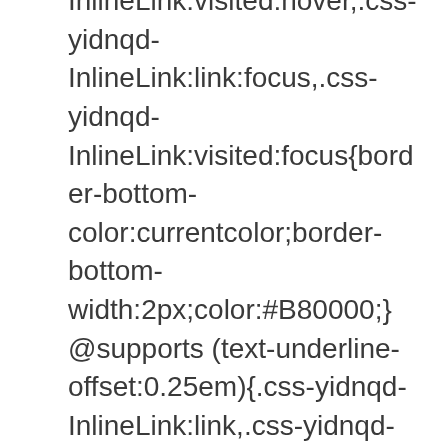InlineLink:visited:hover,.css-yidnqd-InlineLink:link:focus,.css-yidnqd-InlineLink:visited:focus{border-bottom-color:currentcolor;border-bottom-width:2px;color:#B80000;}@supports (text-underline-offset:0.25em){.css-yidnqd-InlineLink:link,.css-yidnqd-InlineLink:visited{border-bottom:none;-webkit-text-decoration:underline #BABABA;text-decoration:underline #BABABA;-webkit-text-decoration-thickness:1px;text-decoration-thickness:1px;-webkit-text-decoration-skip-ink:none;text-decoration-skip-ink:none;text-underline-offset:0.25em;}.css-yidnqd-InlineLink:link:hover,.css-yidnqd-